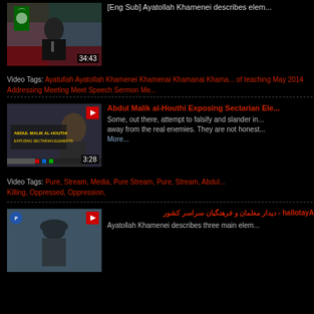[Figure (screenshot): Video thumbnail: Ayatollah Khamenei speaking at podium, Iranian flag visible, duration 34:43]
[Eng Sub] Ayatollah Khamenei describes elem...
Video Tags: Ayatullah Ayatollah Khamenei Khamenai Khamanai Khama... of teaching May 2014 Addressing Meeting Meet Speech Sermon Me...
[Figure (screenshot): Video thumbnail: Abdul Malik al-Houthi Exposing Sectarian Elements, duration 3:28]
Abdul Malik al-Houthi Exposing Sectarian Ele...
Some, out there, attempt to falsify and slander in... away from the real enemies. They are not honest... More...
Video Tags: Pure, Stream, Media, Pure Stream, Pure, Stream, Abdul... Killing, Oppressed, Oppression,
[Figure (screenshot): Video thumbnail: Ayatollah figure, duration unknown]
Ayatollah - دیدار معلمان و فرهنگیان سراسر کشور
Ayatollah Khamenei describes three main elem...